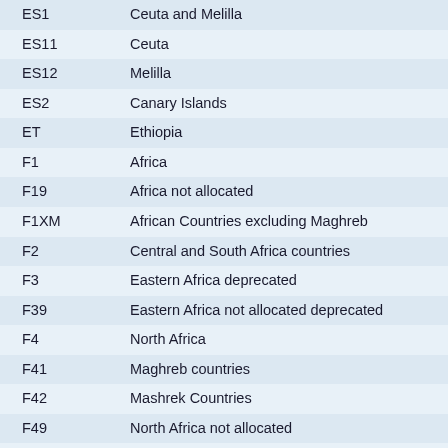| Code | Name |
| --- | --- |
| ES1 | Ceuta and Melilla |
| ES11 | Ceuta |
| ES12 | Melilla |
| ES2 | Canary Islands |
| ET | Ethiopia |
| F1 | Africa |
| F19 | Africa not allocated |
| F1XM | African Countries excluding Maghreb |
| F2 | Central and South Africa countries |
| F3 | Eastern Africa deprecated |
| F39 | Eastern Africa not allocated deprecated |
| F4 | North Africa |
| F41 | Maghreb countries |
| F42 | Mashrek Countries |
| F49 | North Africa not allocated |
| F5 | Middle Africa deprecated |
| F59 | Middle Africa not allocated deprecated |
| F6 | Sub-Saharan Africa |
| F69 | Sub-Saharan Africa not allocated |
| F7 | Southern Africa deprecated |